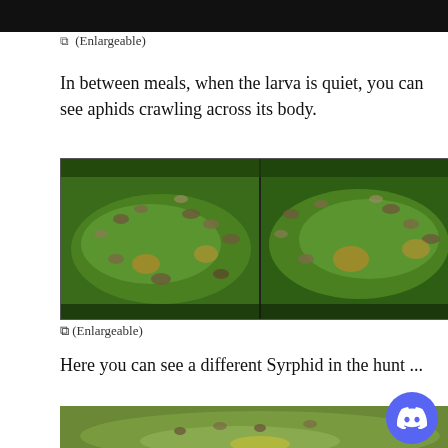[Figure (photo): Top portion of a dark/black background image, cropped at top of page]
④ (Enlargeable)
In between meals, when the larva is quiet, you can see aphids crawling across its body.
[Figure (photo): Two side-by-side close-up photos of aphids crawling on a green plant stem with a syrphid larva]
④ (Enlargeable)
Here you can see a different Syrphid in the hunt ...
[Figure (photo): Close-up photo of a syrphid larva among aphids on a green leaf/stem, partially visible]